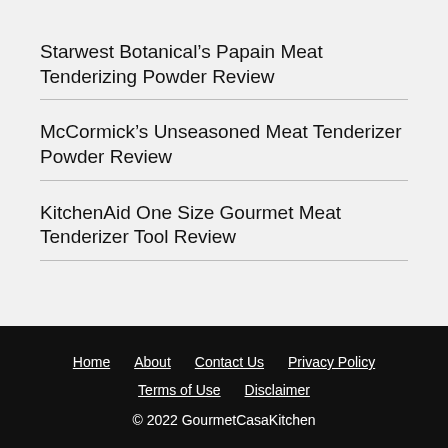Starwest Botanical’s Papain Meat Tenderizing Powder Review
McCormick’s Unseasoned Meat Tenderizer Powder Review
KitchenAid One Size Gourmet Meat Tenderizer Tool Review
Home | About | Contact Us | Privacy Policy | Terms of Use | Disclaimer | © 2022 GourmetCasaKitchen